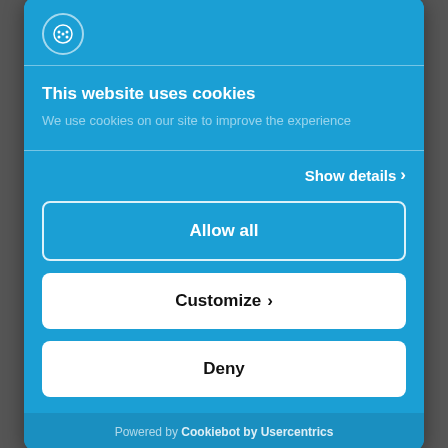[Figure (logo): Cookiebot logo icon inside a circle in the header]
This website uses cookies
We use cookies on our site to improve the experience
Show details >
Allow all
Customize >
Deny
Powered by Cookiebot by Usercentrics